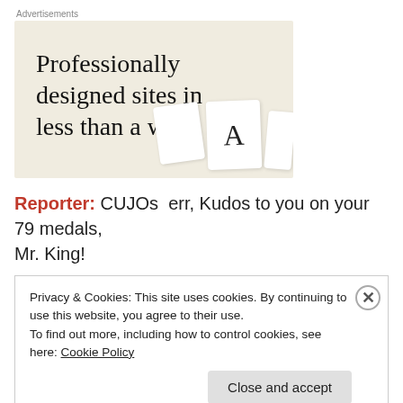Advertisements
[Figure (illustration): Advertisement banner with beige background showing text 'Professionally designed sites in less than a week' with decorative card graphics on the right side.]
Reporter:  CUJOs  err, Kudos to you on your 79 medals, Mr. King!
Privacy & Cookies: This site uses cookies. By continuing to use this website, you agree to their use.
To find out more, including how to control cookies, see here: Cookie Policy
Close and accept